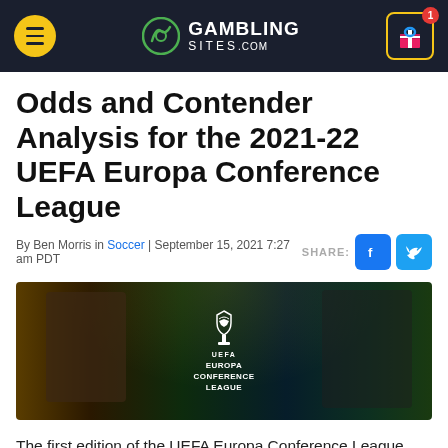GambingSites.com navigation header
Odds and Contender Analysis for the 2021-22 UEFA Europa Conference League
By Ben Morris in Soccer | September 15, 2021 7:27 am PDT
[Figure (photo): UEFA Europa Conference League promotional banner featuring two football figures and the UEFA Europa Conference League trophy logo against a colorful background]
The first edition of the UEFA Europa Conference League kicks off this week. 32 teams from across the continent will